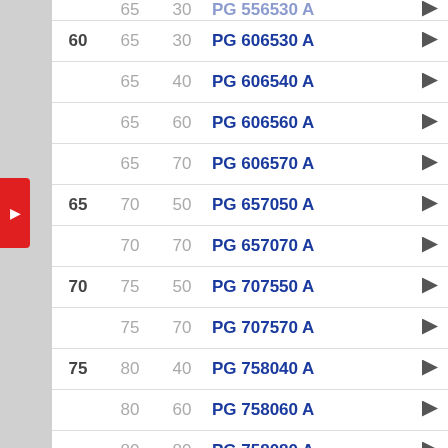|  | Col2 | Col3 | Code |  |
| --- | --- | --- | --- | --- |
|  | 65 | 30 | PG 556530 A | ▶ |
| 60 | 65 | 30 | PG 606530 A | ▶ |
|  | 65 | 40 | PG 606540 A | ▶ |
|  | 65 | 60 | PG 606560 A | ▶ |
|  | 65 | 70 | PG 606570 A | ▶ |
| 65 | 70 | 50 | PG 657050 A | ▶ |
|  | 70 | 70 | PG 657070 A | ▶ |
| 70 | 75 | 50 | PG 707550 A | ▶ |
|  | 75 | 70 | PG 707570 A | ▶ |
| 75 | 80 | 40 | PG 758040 A | ▶ |
|  | 80 | 60 | PG 758060 A | ▶ |
|  | 80 | 80 | PG 758080 A | ▶ |
| 80 | 85 | 60 | PG 808560 A | ▶ |